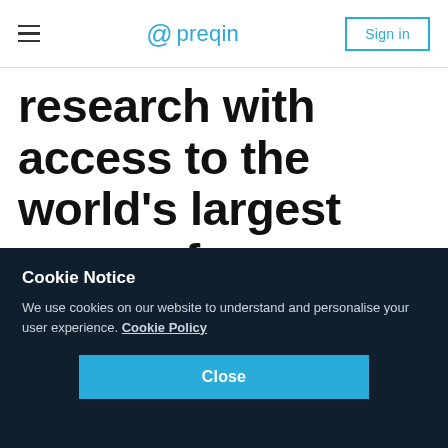≡  @preqin  Sign in
research with access to the world's largest range of alternatives data.
Support faculty and
Cookie Notice
We use cookies on our website to understand and personalise your user experience. Cookie Policy
Close